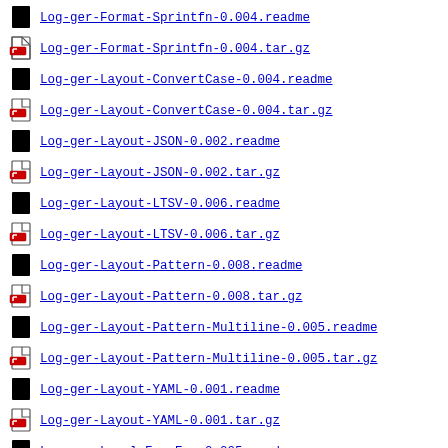Log-ger-Format-Sprintfn-0.004.readme
Log-ger-Format-Sprintfn-0.004.tar.gz
Log-ger-Layout-ConvertCase-0.004.readme
Log-ger-Layout-ConvertCase-0.004.tar.gz
Log-ger-Layout-JSON-0.002.readme
Log-ger-Layout-JSON-0.002.tar.gz
Log-ger-Layout-LTSV-0.006.readme
Log-ger-Layout-LTSV-0.006.tar.gz
Log-ger-Layout-Pattern-0.008.readme
Log-ger-Layout-Pattern-0.008.tar.gz
Log-ger-Layout-Pattern-Multiline-0.005.readme
Log-ger-Layout-Pattern-Multiline-0.005.tar.gz
Log-ger-Layout-YAML-0.001.readme
Log-ger-Layout-YAML-0.001.tar.gz
Log-ger-Level-FromEnv-0.005.readme
Log-ger-Level-FromEnv-0.005.tar.gz
Log-ger-Level-FromVar-0.001.readme
Log-ger-Level-FromVar-0.001.tar.gz (partial)